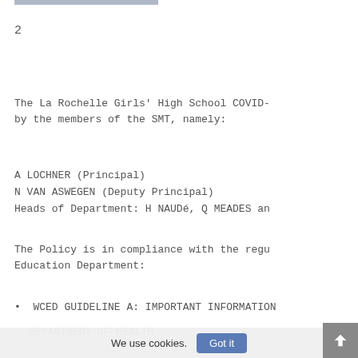2
The La Rochelle Girls' High School COVID- by the members of the SMT, namely:
A LOCHNER (Principal)
N VAN ASWEGEN (Deputy Principal)
Heads of Department: H NAUDé, Q MEADES an
The Policy is in compliance with the regu Education Department:
WCED GUIDELINE A: IMPORTANT INFORMATION DEPARTMENT OF HEALTH